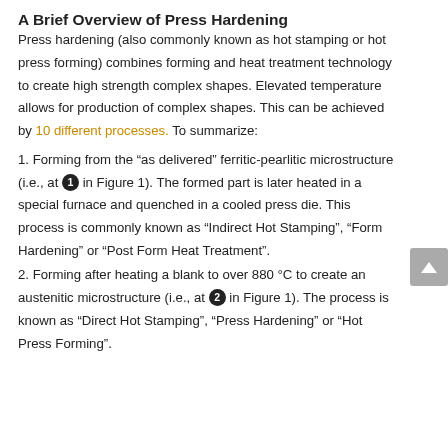A Brief Overview of Press Hardening
Press hardening (also commonly known as hot stamping or hot press forming) combines forming and heat treatment technology to create high strength complex shapes. Elevated temperature allows for production of complex shapes. This can be achieved by 10 different processes. To summarize:
1. Forming from the “as delivered” ferritic-pearlitic microstructure (i.e., at ❶ in Figure 1). The formed part is later heated in a special furnace and quenched in a cooled press die. This process is commonly known as “Indirect Hot Stamping”, “Form Hardening” or “Post Form Heat Treatment”.
2. Forming after heating a blank to over 880 °C to create an austenitic microstructure (i.e., at ❷ in Figure 1). The process is known as “Direct Hot Stamping”, “Press Hardening” or “Hot Press Forming”.